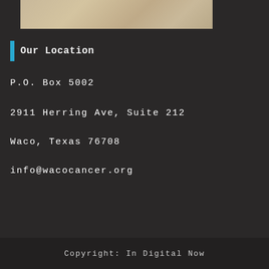[Figure (photo): Partial view of a stone or marble textured surface, beige/tan tones, cropped at top of page]
Our Location
P.O. Box 5002
2911 Herring Ave, Suite 212
Waco, Texas 76708
info@wacocancer.org
Copyright: In Digital Now